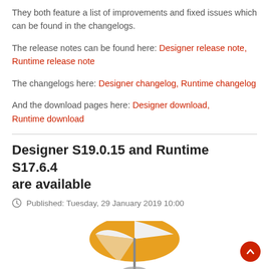They both feature a list of improvements and fixed issues which can be found in the changelogs.
The release notes can be found here: Designer release note, Runtime release note
The changelogs here: Designer changelog, Runtime changelog
And the download pages here: Designer download, Runtime download
Designer S19.0.15 and Runtime S17.6.4 are available
Published: Tuesday, 29 January 2019 10:00
[Figure (illustration): Partial view of an orange and white beach umbrella graphic at the bottom of the page, with a red circular scroll-to-top button in the bottom right corner.]